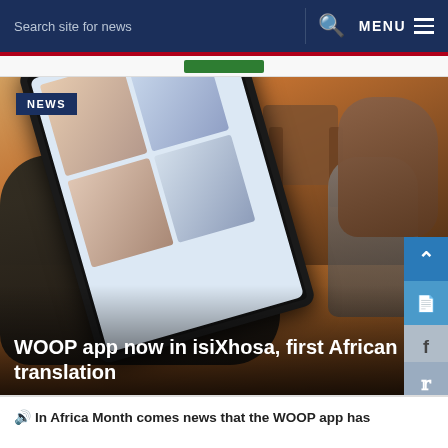Search site for news   MENU
[Figure (photo): A child sitting cross-legged on the floor holding and reading from a tablet device showing anatomical diagrams. A wooden chair is visible in the background. The scene is warmly lit.]
NEWS
WOOP app now in isiXhosa, first African translation
In Africa Month comes news that the WOOP app has